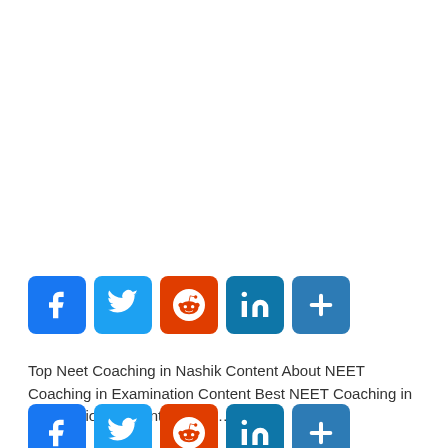[Figure (infographic): Row of social share buttons: Facebook (blue), Twitter (light blue), Reddit (orange-red), LinkedIn (teal-blue), Share/More (blue)]
Top Neet Coaching in Nashik Content About NEET Coaching in Examination Content Best NEET Coaching in Preparation Content Why to…
[Figure (infographic): Second row of social share buttons (partially visible): Facebook, Twitter, Reddit, LinkedIn, Share/More]